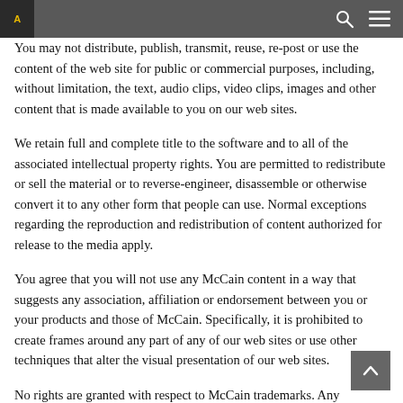proprietary notices and this limited license.
You may not distribute, publish, transmit, reuse, re-post or use the content of the web site for public or commercial purposes, including, without limitation, the text, audio clips, video clips, images and other content that is made available to you on our web sites.
We retain full and complete title to the software and to all of the associated intellectual property rights. You are permitted to redistribute or sell the material or to reverse-engineer, disassemble or otherwise convert it to any other form that people can use. Normal exceptions regarding the reproduction and redistribution of content authorized for release to the media apply.
You agree that you will not use any McCain content in a way that suggests any association, affiliation or endorsement between you or your products and those of McCain. Specifically, it is prohibited to create frames around any part of any of our web sites or use other techniques that alter the visual presentation of our web sites.
No rights are granted with respect to McCain trademarks. Any